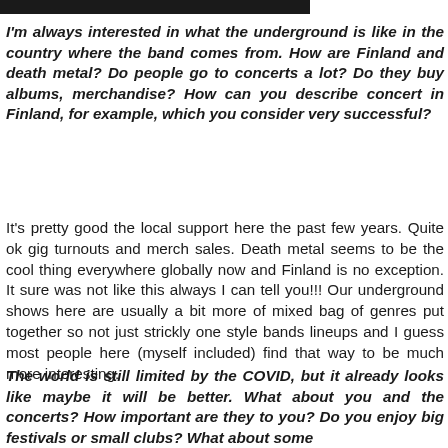[Figure (other): Black header bar at top of page]
I'm always interested in what the underground is like in the country where the band comes from. How are Finland and death metal? Do people go to concerts a lot? Do they buy albums, merchandise? How can you describe concert in Finland, for example, which you consider very successful?
It's pretty good the local support here the past few years. Quite ok gig turnouts and merch sales. Death metal seems to be the cool thing everywhere globally now and Finland is no exception. It sure was not like this always I can tell you!!! Our underground shows here are usually a bit more of mixed bag of genres put together so not just strickly one style bands lineups and I guess most people here (myself included) find that way to be much more interesting.
The world is still limited by the COVID, but it already looks like maybe it will be better. What about you and the concerts? How important are they to you? Do you enjoy big festivals or small clubs? What about some